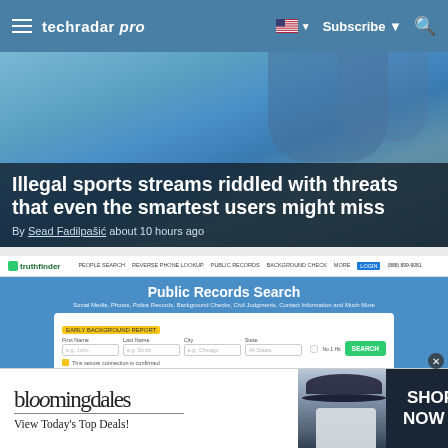techradar pro — Subscribe — Search
[Figure (screenshot): Article card with blurred background of soccer/sports players in blue uniform. Overlay text: Illegal sports streams riddled with threats that even the smartest users might miss. By Sead Fadilpašić about 10 hours ago.]
Illegal sports streams riddled with threats that even the smartest users might miss
By Sead Fadilpašić about 10 hours ago
[Figure (screenshot): Screenshot of TruthFinder website showing Public Records Search interface with navigation bar, search fields for First Name, Last Name, City, State, and a green Search button.]
TruthFinder background check
[Figure (screenshot): Bloomingdale's advertisement banner: bloomingdales — View Today's Top Deals! — SHOP NOW >]